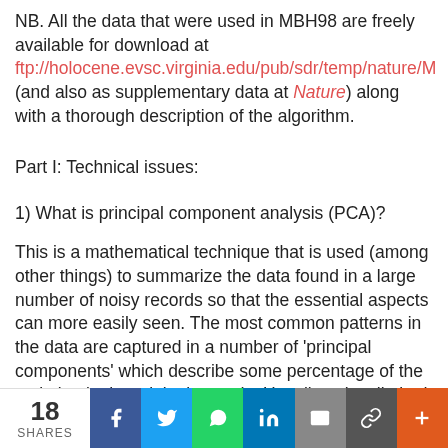NB. All the data that were used in MBH98 are freely available for download at ftp://holocene.evsc.virginia.edu/pub/sdr/temp/nature/M (and also as supplementary data at Nature) along with a thorough description of the algorithm.
Part I: Technical issues:
1) What is principal component analysis (PCA)?
This is a mathematical technique that is used (among other things) to summarize the data found in a large number of noisy records so that the essential aspects can more easily seen. The most common patterns in the data are captured in a number of 'principal components' which describe some percentage of the variation in the original records. Usually only a limited number of components (PCs) have any statistical
18 SHARES